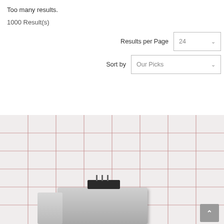Too many results.
1000 Result(s)
Results per Page  24
Sort by  Our Picks
[Figure (photo): Photo of an electronic component (appears to be a connector or adapter) placed on a white grid background with red grid lines. A scroll-to-top button is visible in the bottom right corner.]